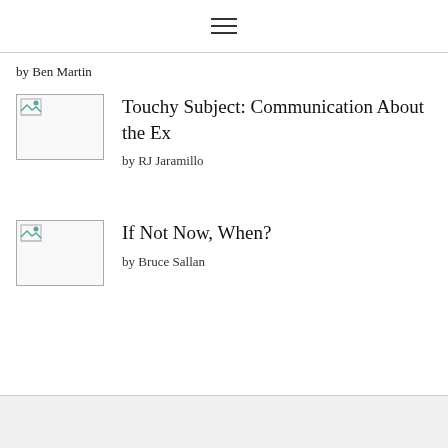☰
by Ben Martin
Touchy Subject: Communication About the Ex
by RJ Jaramillo
If Not Now, When?
by Bruce Sallan